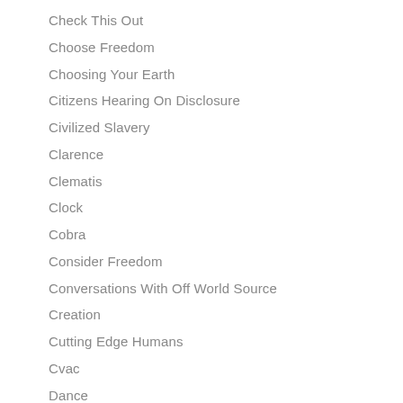Check This Out
Choose Freedom
Choosing Your Earth
Citizens Hearing On Disclosure
Civilized Slavery
Clarence
Clematis
Clock
Cobra
Consider Freedom
Conversations With Off World Source
Creation
Cutting Edge Humans
Cvac
Dance
David Icke